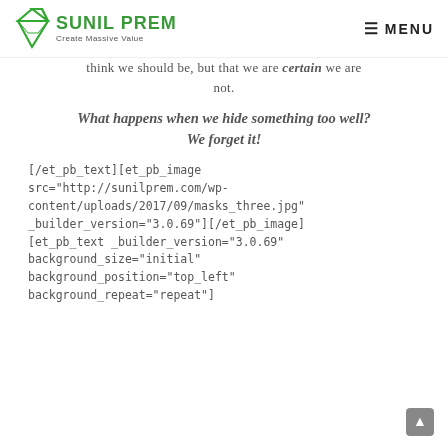SUNIL PREM — Create Massive Value | MENU
think we should be, but that we are certain we are not.
What happens when we hide something too well? We forget it!
[/et_pb_text][et_pb_image src="http://sunilprem.com/wp-content/uploads/2017/09/masks_three.jpg" _builder_version="3.0.69"][/et_pb_image] [et_pb_text _builder_version="3.0.69" background_size="initial" background_position="top_left" background_repeat="repeat"]